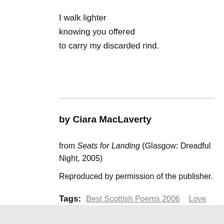I walk lighter
knowing you offered
to carry my discarded rind.
by Ciara MacLaverty
from Seats for Landing (Glasgow: Dreadful Night, 2005)
Reproduced by permission of the publisher.
Tags: Best Scottish Poems 2006  Love